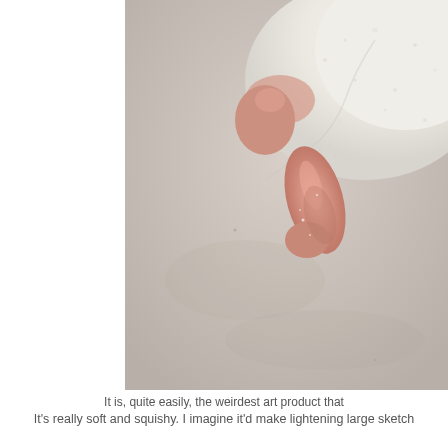[Figure (photo): A close-up photo of a hand holding or pressing against a fluffy, soft white material (resembling a large eraser or squishy art product) on a light grey surface. The photo is cropped to show only part of the object and hand from above.]
It is, quite easily, the weirdest art product that
It's really soft and squishy. I imagine it'd make lightening large sketch